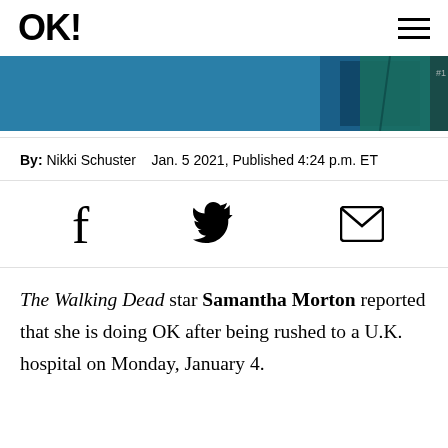OK!
[Figure (photo): Partially visible promotional image with teal/dark tones, appears to be from The Walking Dead]
By: Nikki Schuster   Jan. 5 2021, Published 4:24 p.m. ET
[Figure (other): Social sharing icons: Facebook, Twitter, Email]
The Walking Dead star Samantha Morton reported that she is doing OK after being rushed to a U.K. hospital on Monday, January 4.